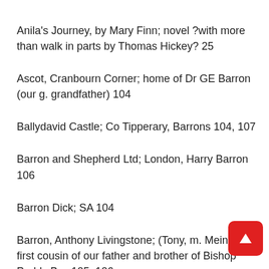Anila's Journey, by Mary Finn; novel ?with more than walk in parts by Thomas Hickey? 25
Ascot, Cranbourn Corner; home of Dr GE Barron (our g. grandfather) 104
Ballydavid Castle; Co Tipperary, Barrons 104, 107
Barron and Shepherd Ltd; London, Harry Barron 106
Barron Dick; SA 104
Barron, Anthony Livingstone; (Tony, m. Mein), SA, first cousin of our father and brother of Bishop Paddy B... 105, 106